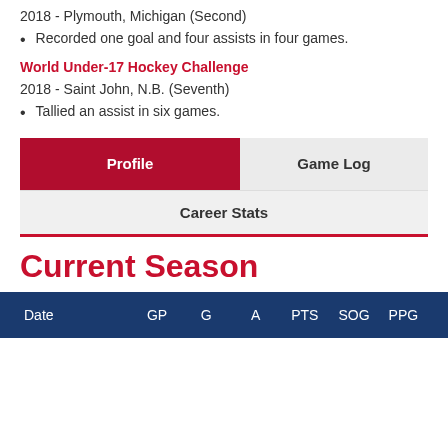2018 - Plymouth, Michigan (Second)
Recorded one goal and four assists in four games.
World Under-17 Hockey Challenge
2018 - Saint John, N.B. (Seventh)
Tallied an assist in six games.
| Profile | Game Log |
| --- | --- |
| Career Stats |
Current Season
| Date | GP | G | A | PTS | SOG | PPG |
| --- | --- | --- | --- | --- | --- | --- |